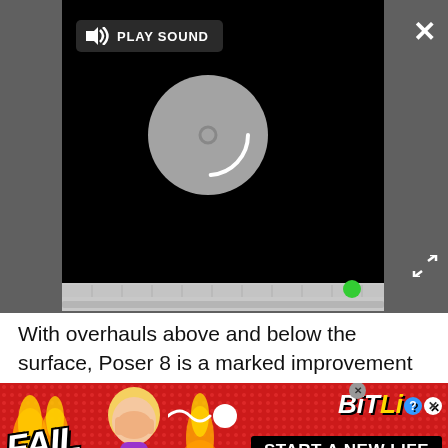[Figure (screenshot): Video/media player with black background showing a loading spinner circle and a 'PLAY SOUND' button in the top-left. An X close button in the top-right and an expand icon at bottom-right. Dark gray surrounding overlay. Timeline/progress bar area at bottom with green dot.]
With overhauls above and below the surface, Poser 8 is a marked improvement over previous releases. Smith Micro has taken the same approach in Poser 8 that Apple has taken with Snow Leopard: there are relatively few brand-new tools, but there's been lots of tuning up to make what's there easier for
[Figure (illustration): BitLife advertisement banner with red background, 'FAIL' text in white italic, cartoon character face-palming with flames, BitLife logo in gold/white, sperm-shaped icon, and 'START A NEW LIFE' in black rectangle.]